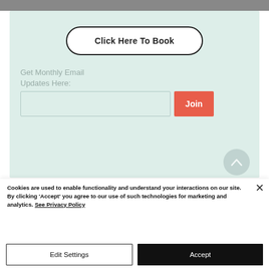[Figure (photo): Partial photo strip at top of page, cropped black and white image]
Click Here To Book
Get Monthly Email Updates Here:
[Figure (other): Email input field with Join button]
Cookies are used to enable functionality and understand your interactions on our site. By clicking 'Accept' you agree to our use of such technologies for marketing and analytics. See Privacy Policy
Edit Settings
Accept